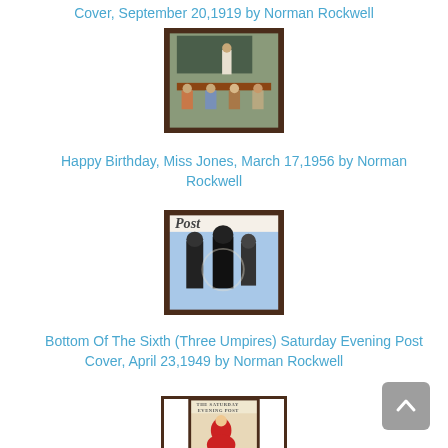Cover, September 20,1919 by Norman Rockwell
[Figure (illustration): Norman Rockwell painting of a classroom scene with a teacher standing at the front and students seated]
Happy Birthday, Miss Jones, March 17,1956 by Norman Rockwell
[Figure (illustration): Saturday Evening Post cover showing three umpires, Bottom Of The Sixth]
Bottom Of The Sixth (Three Umpires) Saturday Evening Post Cover, April 23,1949 by Norman Rockwell
[Figure (illustration): The Saturday Evening Post cover painting by Norman Rockwell, partially visible]